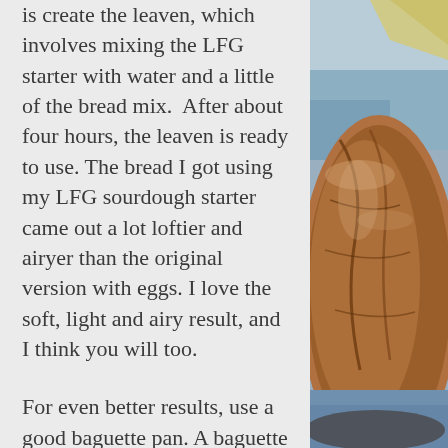is create the leaven, which involves mixing the LFG starter with water and a little of the bread mix.  After about four hours, the leaven is ready to use. The bread I got using my LFG sourdough starter came out a lot loftier and airyer than the original version with eggs. I love the soft, light and airy result, and I think you will too.
For even better results, use a good baguette pan. A baguette pan has two huge advantages over a regular baking sheet. First, it has little holes to keep the air flowing through the bottom of the baguette. And second, it has a round bottom instead of a flat bottom. So you got a pretty
[Figure (photo): Close-up photo of a rustic baguette with cracked crust, showing texture and crumb, with a blue cloth in the background.]